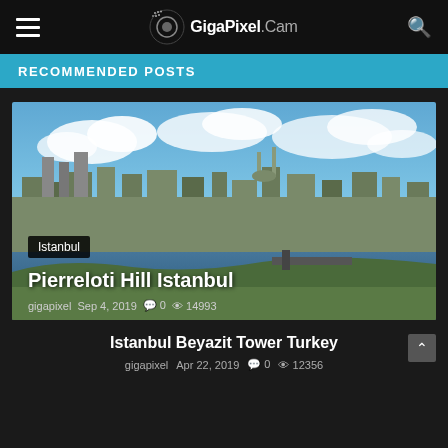GigaPixel.Cam
RECOMMENDED POSTS
[Figure (photo): Aerial panoramic view of Istanbul cityscape showing the Golden Horn waterway, dense urban buildings, minarets, and cloudy blue sky]
Istanbul
Pierreloti Hill Istanbul
gigapixel  Sep 4, 2019  0  14993
Istanbul Beyazit Tower Turkey
gigapixel  Apr 22, 2019  0  12356